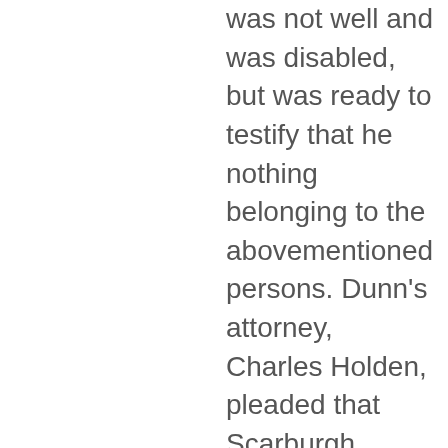was not well and was disabled, but was ready to testify that he nothing belonging to the abovementioned persons. Dunn's attorney, Charles Holden, pleaded that Scarburgh should be present, and the case was continued to the next court. Now Scarburgh appeared in obedience to the summons and "laid hold of his Majesty's gracious indulgence granted to tender consciences that he could not be compelled to swear, but did declare he had no effects of the aforesaid persons in his hands." He said he could make